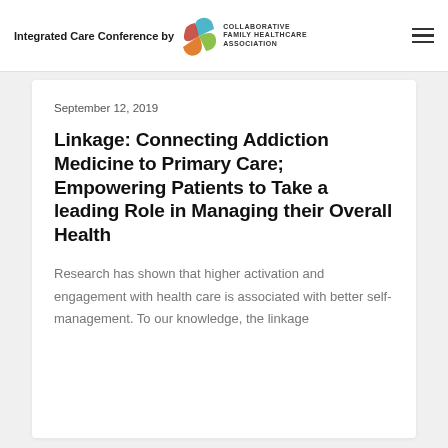Integrated Care Conference by CFHA COLLABORATIVE FAMILY HEALTHCARE ASSOCIATION
September 12, 2019
Linkage: Connecting Addiction Medicine to Primary Care; Empowering Patients to Take a leading Role in Managing their Overall Health
Research has shown that higher activation and engagement with health care is associated with better self-management. To our knowledge, the linkage